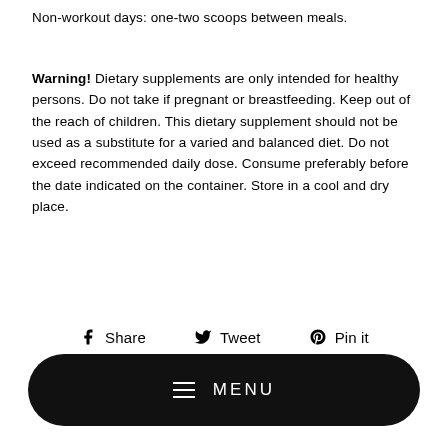Non-workout days: one-two scoops between meals.
Warning! Dietary supplements are only intended for healthy persons. Do not take if pregnant or breastfeeding. Keep out of the reach of children. This dietary supplement should not be used as a substitute for a varied and balanced diet. Do not exceed recommended daily dose. Consume preferably before the date indicated on the container. Store in a cool and dry place.
[Figure (infographic): Social share buttons: Share (Facebook), Tweet (Twitter), Pin it (Pinterest)]
[Figure (infographic): Black rounded rectangle MENU button with hamburger icon]